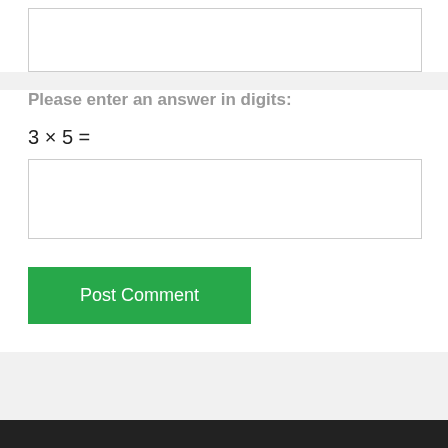Please enter an answer in digits:
Post Comment
Copyright © All rights reserved. | CoverNews by AF themes.